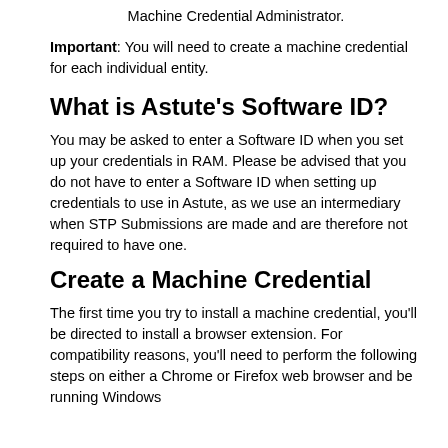Machine Credential Administrator.
Important: You will need to create a machine credential for each individual entity.
What is Astute's Software ID?
You may be asked to enter a Software ID when you set up your credentials in RAM. Please be advised that you do not have to enter a Software ID when setting up credentials to use in Astute, as we use an intermediary when STP Submissions are made and are therefore not required to have one.
Create a Machine Credential
The first time you try to install a machine credential, you'll be directed to install a browser extension. For compatibility reasons, you'll need to perform the following steps on either a Chrome or Firefox web browser and be running Windows